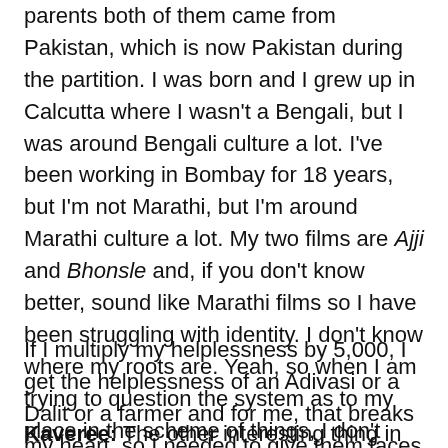parents both of them came from Pakistan, which is now Pakistan during the partition. I was born and I grew up in Calcutta where I wasn't a Bengali, but I was around Bengali culture a lot. I've been working in Bombay for 18 years, but I'm not Marathi, but I'm around Marathi culture a lot. My two films are Ajji and Bhonsle and, if you don't know better, sound like Marathi films so I have been struggling with identity. I don't know where my roots are. Yeah, so when I am trying to question the system as to my place in the scheme of things, I don't know where to begin because I have nothing to prove that I have an identity that allows me to question this system.
If I multiply my helplessness by 5,000, I get the helplessness of an Adivasi or a Dalit or a farmer and for me, that breaks my heart, so I needed to give them faces and explore their identity.
Kaveree: The other interesting thing in the story is the